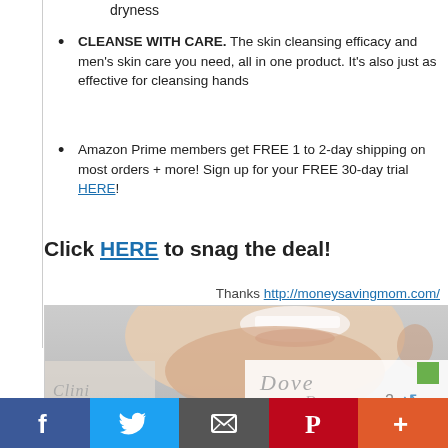dryness
CLEANSE WITH CARE. The skin cleansing efficacy and men's skin care you need, all in one product. It's also just as effective for cleansing hands
Amazon Prime members get FREE 1 to 2-day shipping on most orders + more! Sign up for your FREE 30-day trial HERE!
Click HERE to snag the deal!
Thanks http://moneysavingmom.com/
[Figure (photo): Cropped photo of a smiling woman's face/neck, with Dove soap product advertisement overlay in bottom right corner, and social sharing bar at bottom with Facebook, Twitter, Email, Pinterest, and More buttons]
f  (Twitter bird)  (envelope)  P  +